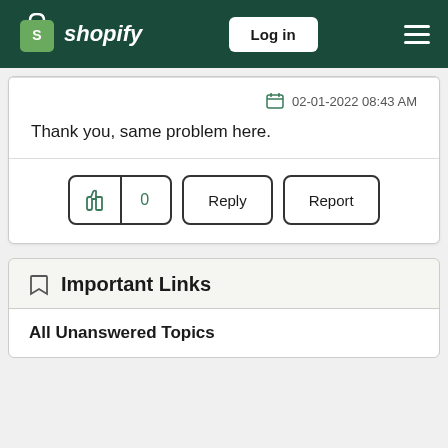shopify — Log in
02-01-2022 08:43 AM
Thank you, same problem here.
0
Important Links
All Unanswered Topics